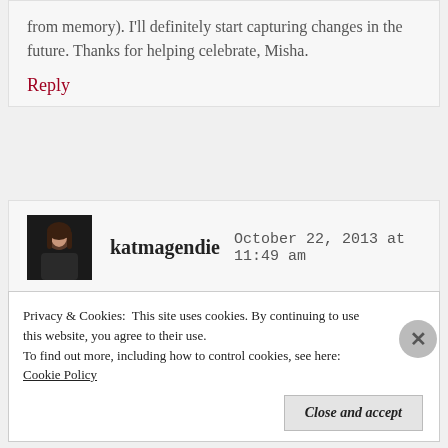from memory). I'll definitely start capturing changes in the future. Thanks for helping celebrate, Misha.
Reply
katmagendie   October 22, 2013 at 11:49 am
this made me feel happy to read . . . .
Reply
Privacy & Cookies: This site uses cookies. By continuing to use this website, you agree to their use. To find out more, including how to control cookies, see here: Cookie Policy
Close and accept